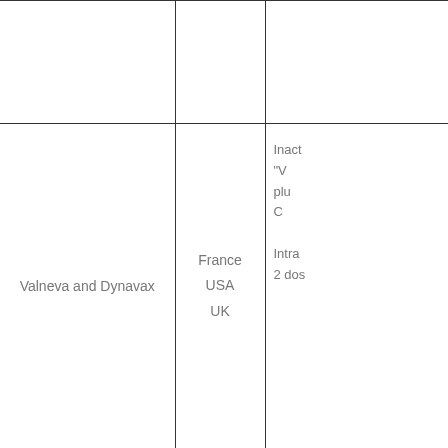| Manufacturer | Country | Details |
| --- | --- | --- |
|  |  |  |
| Valneva and Dynavax | France
USA
UK | Inact "V" plu C

Intra
2 dos |
VIRAL VECTOR-B
|  |  |  |